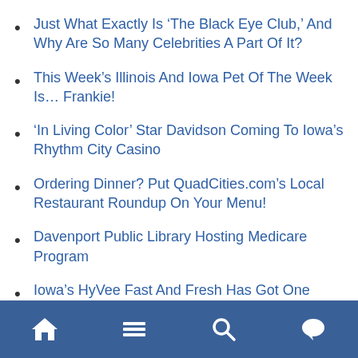Just What Exactly Is ‘The Black Eye Club,’ And Why Are So Many Celebrities A Part Of It?
This Week’s Illinois And Iowa Pet Of The Week Is… Frankie!
‘In Living Color’ Star Davidson Coming To Iowa’s Rhythm City Casino
Ordering Dinner? Put QuadCities.com’s Local Restaurant Roundup On Your Menu!
Davenport Public Library Hosting Medicare Program
Iowa’s HyVee Fast And Fresh Has Got One Great Burger, Says Doc
Navigation bar with home, menu, search, and chat icons